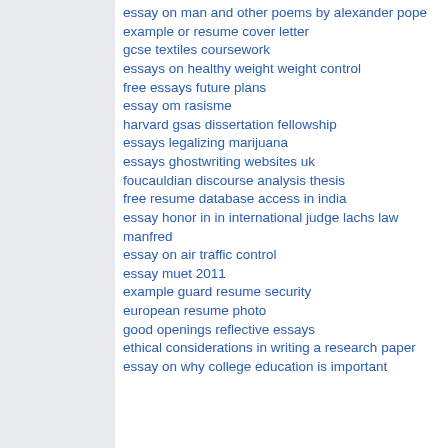essay on man and other poems by alexander pope
example or resume cover letter
gcse textiles coursework
essays on healthy weight weight control
free essays future plans
essay om rasisme
harvard gsas dissertation fellowship
essays legalizing marijuana
essays ghostwriting websites uk
foucauldian discourse analysis thesis
free resume database access in india
essay honor in in international judge lachs law manfred
essay on air traffic control
essay muet 2011
example guard resume security
european resume photo
good openings reflective essays
ethical considerations in writing a research paper
essay on why college education is important